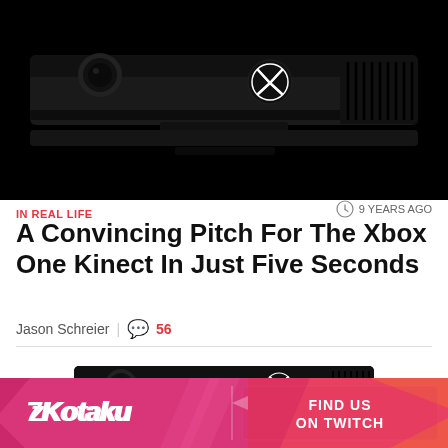[Figure (photo): Xbox One Kinect sensor bar — front view on black background, showing camera lens on left, Xbox logo in center-right area, and ventilation grille on far right]
IN REAL LIFE
9 YEARS AGO
A Convincing Pitch For The Xbox One Kinect In Just Five Seconds
Jason Schreier | 56
[Figure (photo): Xbox One Kinect sensor bar — smaller version, front view on dark background]
[Figure (other): Kotaku advertisement banner — pink/red gradient background with Kotaku logo on left and 'FIND US ON TWITCH' button on right]